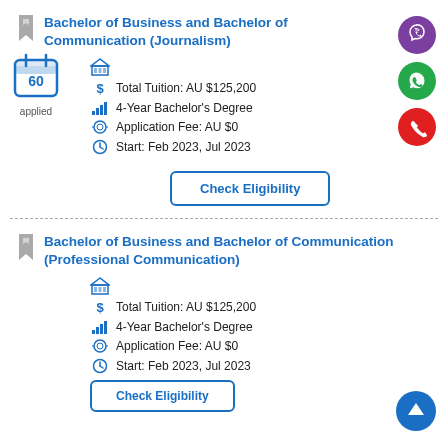Bachelor of Business and Bachelor of Communication (Journalism)
Total Tuition: AU $125,200
4-Year Bachelor's Degree
Application Fee: AU $0
Start: Feb 2023, Jul 2023
Bachelor of Business and Bachelor of Communication (Professional Communication)
Total Tuition: AU $125,200
4-Year Bachelor's Degree
Application Fee: AU $0
Start: Feb 2023, Jul 2023